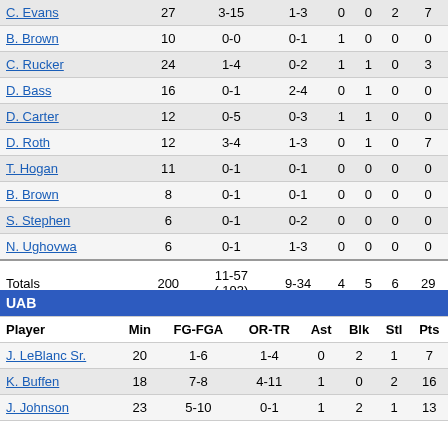| Player | Min | FG-FGA | OR-TR | Ast | Blk | Stl | Pts |
| --- | --- | --- | --- | --- | --- | --- | --- |
| C. Evans | 27 | 3-15 | 1-3 | 0 | 0 | 2 | 7 |
| B. Brown | 10 | 0-0 | 0-1 | 1 | 0 | 0 | 0 |
| C. Rucker | 24 | 1-4 | 0-2 | 1 | 1 | 0 | 3 |
| D. Bass | 16 | 0-1 | 2-4 | 0 | 1 | 0 | 0 |
| D. Carter | 12 | 0-5 | 0-3 | 1 | 1 | 0 | 0 |
| D. Roth | 12 | 3-4 | 1-3 | 0 | 1 | 0 | 7 |
| T. Hogan | 11 | 0-1 | 0-1 | 0 | 0 | 0 | 0 |
| B. Brown | 8 | 0-1 | 0-1 | 0 | 0 | 0 | 0 |
| S. Stephen | 6 | 0-1 | 0-2 | 0 | 0 | 0 | 0 |
| N. Ughovwa | 6 | 0-1 | 1-3 | 0 | 0 | 0 | 0 |
| Totals | 200 | 11-57 (.193) | 9-34 | 4 | 5 | 6 | 29 |
| Player | Min | FG-FGA | OR-TR | Ast | Blk | Stl | Pts |
| --- | --- | --- | --- | --- | --- | --- | --- |
| J. LeBlanc Sr. | 20 | 1-6 | 1-4 | 0 | 2 | 1 | 7 |
| K. Buffen | 18 | 7-8 | 4-11 | 1 | 0 | 2 | 16 |
| J. Johnson | 23 | 5-10 | 0-1 | 1 | 2 | 1 | 13 |